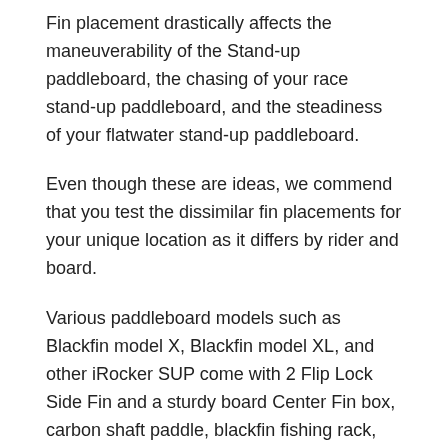Fin placement drastically affects the maneuverability of the Stand-up paddleboard, the chasing of your race stand-up paddleboard, and the steadiness of your flatwater stand-up paddleboard.
Even though these are ideas, we commend that you test the dissimilar fin placements for your unique location as it differs by rider and board.
Various paddleboard models such as Blackfin model X, Blackfin model XL, and other iRocker SUP come with 2 Flip Lock Side Fin and a sturdy board Center Fin box, carbon shaft paddle, blackfin fishing rack, triple-layer composite PVC material to provide you every support you need on the water.
Read Next – GILI Adventure Inflatable Stand Up Paddle Board
FAQ